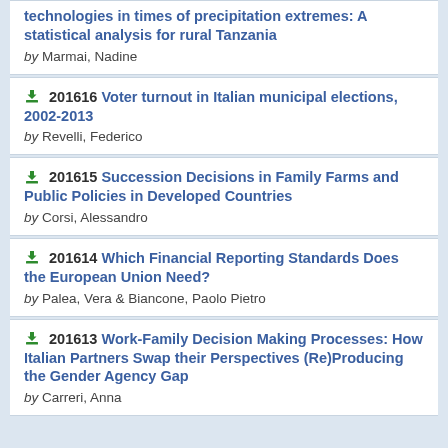technologies in times of precipitation extremes: A statistical analysis for rural Tanzania by Marmai, Nadine
201616 Voter turnout in Italian municipal elections, 2002-2013 by Revelli, Federico
201615 Succession Decisions in Family Farms and Public Policies in Developed Countries by Corsi, Alessandro
201614 Which Financial Reporting Standards Does the European Union Need? by Palea, Vera & Biancone, Paolo Pietro
201613 Work-Family Decision Making Processes: How Italian Partners Swap their Perspectives (Re)Producing the Gender Agency Gap by Carreri, Anna